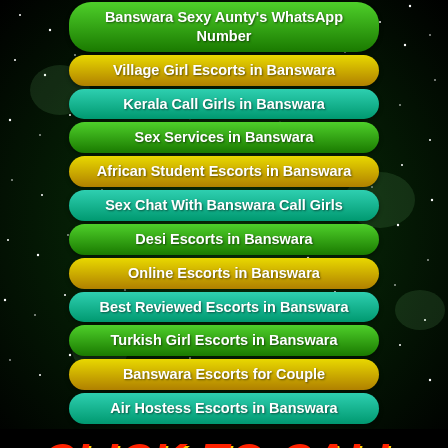Banswara Sexy Aunty's WhatsApp Number
Village Girl Escorts in Banswara
Kerala Call Girls in Banswara
Sex Services in Banswara
African Student Escorts in Banswara
Sex Chat With Banswara Call Girls
Desi Escorts in Banswara
Online Escorts in Banswara
Best Reviewed Escorts in Banswara
Turkish Girl Escorts in Banswara
Banswara Escorts for Couple
Air Hostess Escorts in Banswara
CLICK TO CALL